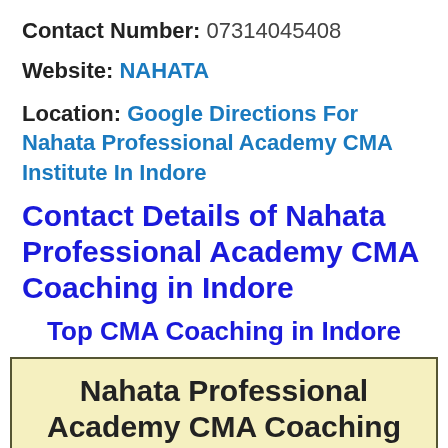Contact Number: 07314045408
Website: NAHATA
Location: Google Directions For Nahata Professional Academy CMA Institute In Indore
Contact Details of Nahata Professional Academy CMA Coaching in Indore
Top CMA Coaching in Indore
Nahata Professional Academy CMA Coaching Institute in Indore